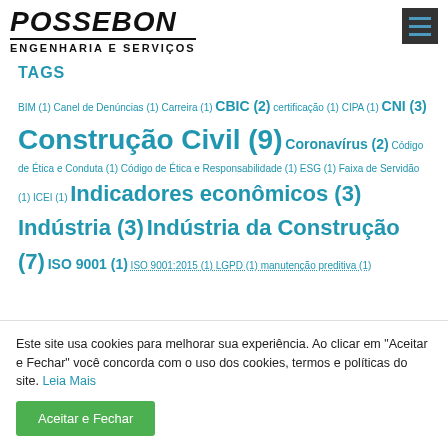POSSEBON ENGENHARIA E SERVIÇOS
TAGS
BIM (1) Canel de Denúncias (1) Carreira (1) CBIC (2) certificação (1) CIPA (1) CNI (3) Construção Civil (9) Coronavírus (2) Código de Ética e Conduta (1) Código de Ética e Responsabilidade (1) ESG (1) Faixa de Servidão (1) ICEI (1) Indicadores econômicos (3) Indústria (3) Indústria da Construção (7) ISO 9001 (1) ISO 9001:2015 (1) LGPD (1) manutenção preditiva (1)
Este site usa cookies para melhorar sua experiência. Ao clicar em "Aceitar e Fechar" você concorda com o uso dos cookies, termos e políticas do site. Leia Mais
Aceitar e Fechar